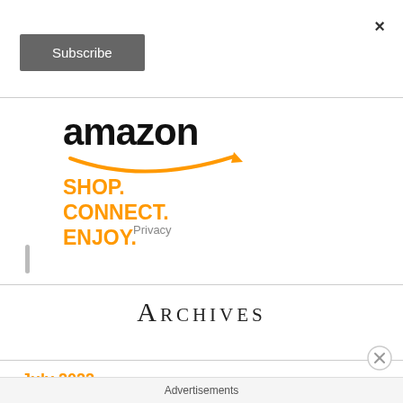×
Subscribe
[Figure (logo): Amazon logo with orange smile arrow and tagline: SHOP. CONNECT. ENJOY.]
Privacy
Archives
July 2022
Advertisements